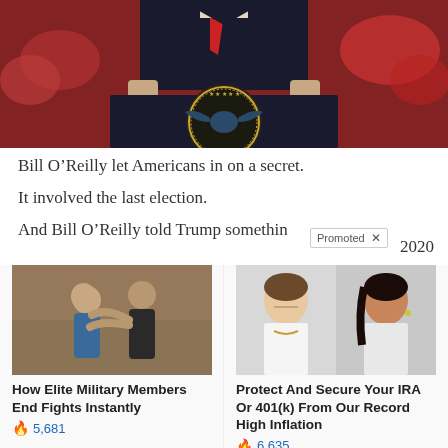[Figure (photo): A figure standing at a presidential podium with the Presidential Seal, crowd with red hats visible in background]
Bill O’Reilly let Americans in on a secret.
It involved the last election.
And Bill O’Reilly told Trump somethin… 2020
[Figure (photo): Two men in a combat/fighting pose, martial arts style]
How Elite Military Members End Fights Instantly
🔥 5,681
[Figure (photo): Two women politicians, Nancy Pelosi and Alexandria Ocasio-Cortez]
Protect And Secure Your IRA Or 401(k) From Our Record High Inflation
🔥 6,635